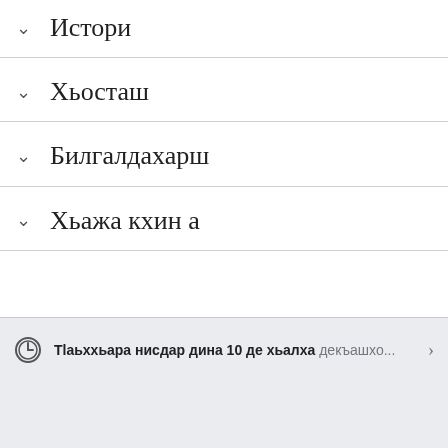∨ Истори
∨ Хьосташ
∨ Билгалдахарш
∨ Хьажа кхин а
Тlаьххьара нисдар дина 10 де хьалха декъашхо...